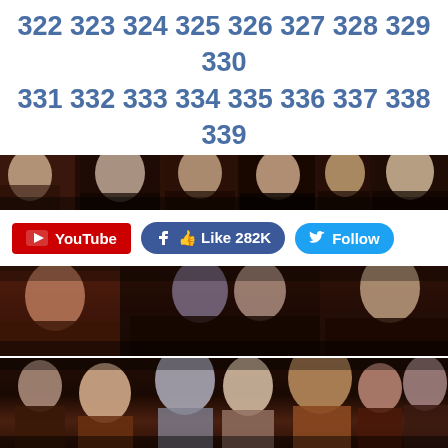322 323 324 325 326 327 328 329 330 331 332 333 334 335 336 337 338 339 340 341 342 343 344 345 346 347 ...
[Figure (photo): Narrow horizontal strip showing faces from a movie cast (darker toned, appears to be Twilight cast)]
[Figure (other): Social media buttons: YouTube button in red, Facebook Like 282K button in blue, Twitter Follow button in light blue]
[Figure (photo): Movie promotional photo showing cast members in dark atmospheric setting]
[Figure (photo): Movie promotional photo showing main cast members including central male and female figures with group around them in dark forest setting]